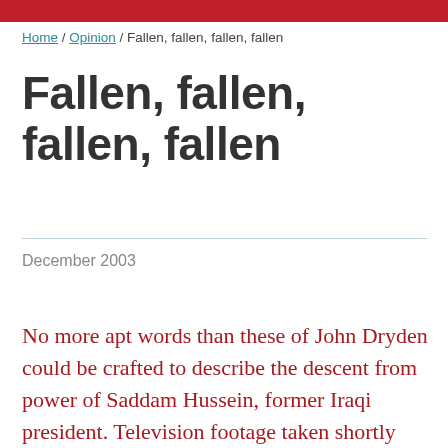Home / Opinion / Fallen, fallen, fallen, fallen
Fallen, fallen, fallen, fallen
December 2003
No more apt words than these of John Dryden could be crafted to describe the descent from power of Saddam Hussein, former Iraqi president. Television footage taken shortly